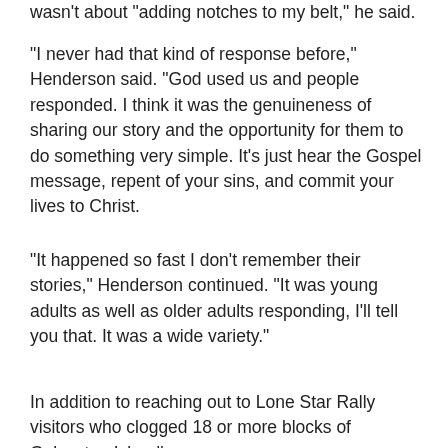wasn't about 'adding notches to my belt,' he said.
"I never had that kind of response before," Henderson said. "God used us and people responded. I think it was the genuineness of sharing our story and the opportunity for them to do something very simple. It's just hear the Gospel message, repent of your sins, and commit your lives to Christ.
"It happened so fast I don't remember their stories," Henderson continued. "It was young adults as well as older adults responding, I'll tell you that. It was a wide variety."
In addition to reaching out to Lone Star Rally visitors who clogged 18 or more blocks of Galveston Island's